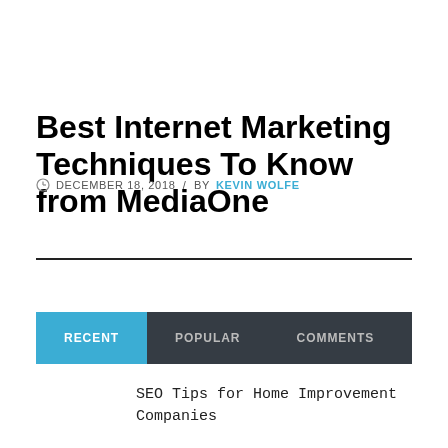Best Internet Marketing Techniques To Know from MediaOne
DECEMBER 18, 2018 / BY KEVIN WOLFE
RECENT | POPULAR | COMMENTS
SEO Tips for Home Improvement Companies